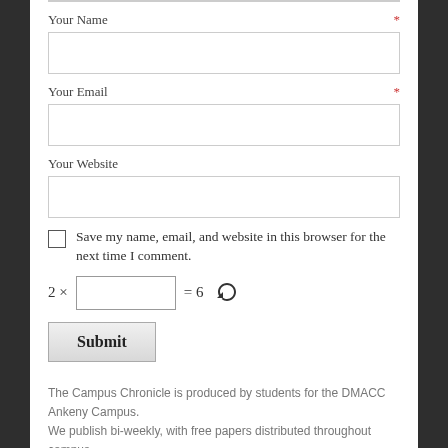Your Name *
Your Email *
Your Website
Save my name, email, and website in this browser for the next time I comment.
Submit
The Campus Chronicle is produced by students for the DMACC Ankeny Campus. We publish bi-weekly, with free papers distributed throughout campus.